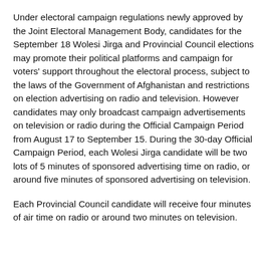Under electoral campaign regulations newly approved by the Joint Electoral Management Body, candidates for the September 18 Wolesi Jirga and Provincial Council elections may promote their political platforms and campaign for voters' support throughout the electoral process, subject to the laws of the Government of Afghanistan and restrictions on election advertising on radio and television. However candidates may only broadcast campaign advertisements on television or radio during the Official Campaign Period from August 17 to September 15. During the 30-day Official Campaign Period, each Wolesi Jirga candidate will be two lots of 5 minutes of sponsored advertising time on radio, or around five minutes of sponsored advertising on television.
Each Provincial Council candidate will receive four minutes of air time on radio or around two minutes on television.